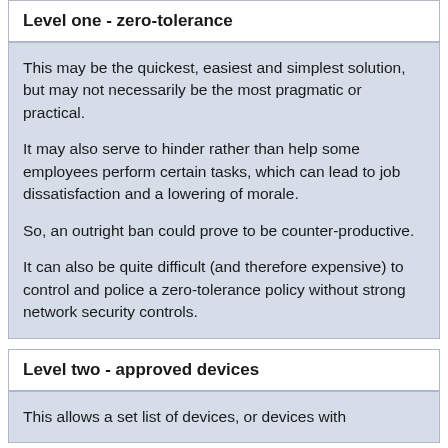Level one - zero-tolerance
This may be the quickest, easiest and simplest solution, but may not necessarily be the most pragmatic or practical.

It may also serve to hinder rather than help some employees perform certain tasks, which can lead to job dissatisfaction and a lowering of morale.

So, an outright ban could prove to be counter-productive.

It can also be quite difficult (and therefore expensive) to control and police a zero-tolerance policy without strong network security controls.
Level two - approved devices
This allows a set list of devices, or devices with